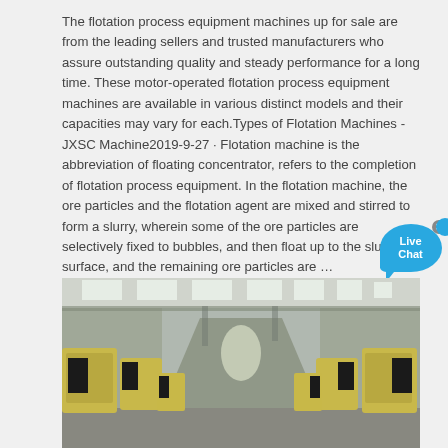The flotation process equipment machines up for sale are from the leading sellers and trusted manufacturers who assure outstanding quality and steady performance for a long time. These motor-operated flotation process equipment machines are available in various distinct models and their capacities may vary for each.Types of Flotation Machines - JXSC Machine2019-9-27 · Flotation machine is the abbreviation of floating concentrator, refers to the completion of flotation process equipment. In the flotation machine, the ore particles and the flotation agent are mixed and stirred to form a slurry, wherein some of the ore particles are selectively fixed to bubbles, and then float up to the slurry surface, and the remaining ore particles are …
[Figure (photo): Industrial factory floor showing rows of large yellow mining/flotation machines (crushers or similar equipment) lined up on both sides of a wide warehouse aisle, with a high ceiling featuring skylights and overhead cranes.]